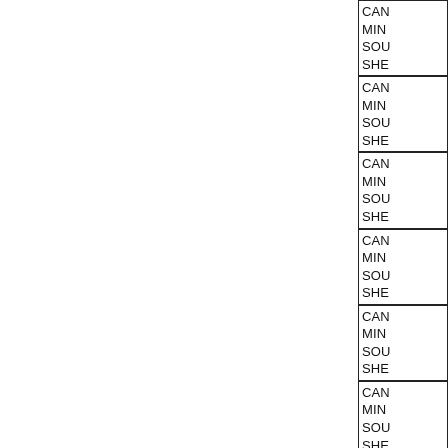[Figure (schematic): Partial view of a document or schematic page showing a right-side column of stacked bordered boxes, each containing four rows of truncated text lines starting with CAN, MIN, SOU, SHE (or similar abbreviated labels). The left portion of the page is blank white. Seven full boxes visible and one partial box at bottom.]